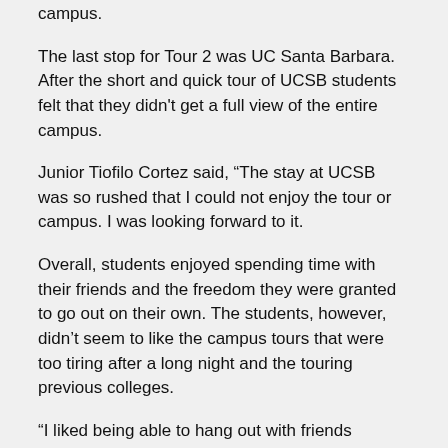campus.
The last stop for Tour 2 was UC Santa Barbara. After the short and quick tour of UCSB students felt that they didn't get a full view of the entire campus.
Junior Tiofilo Cortez said, “The stay at UCSB was so rushed that I could not enjoy the tour or campus. I was looking forward to it.
Overall, students enjoyed spending time with their friends and the freedom they were granted to go out on their own. The students, however, didn’t seem to like the campus tours that were too tiring after a long night and the touring previous colleges.
“I liked being able to hang out with friends without having any parents telling me what to do,” said Cortez.
In summary, the students enjoyed visiting possible colleges that they might attend in the future. After the trip, many students realized what factors they wanted in a college when determining